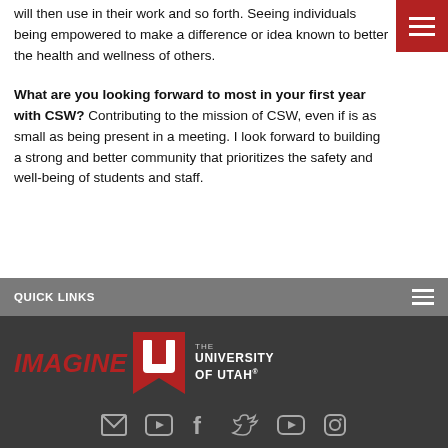will then use in their work and so forth. Seeing individuals being empowered to make a difference or idea known to better the health and wellness of others.
What are you looking forward to most in your first year with CSW? Contributing to the mission of CSW, even if is as small as being present in a meeting. I look forward to building a strong and better community that prioritizes the safety and well-being of students and staff.
QUICK LINKS
[Figure (logo): Imagine U - The University of Utah logo with red block U and white text on dark background]